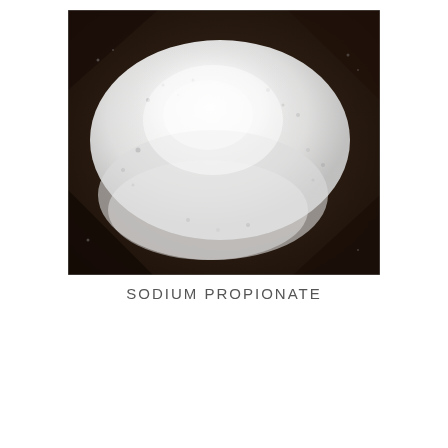[Figure (photo): Close-up photograph of white crystalline powder (sodium propionate) piled on a dark background surface]
SODIUM PROPIONATE